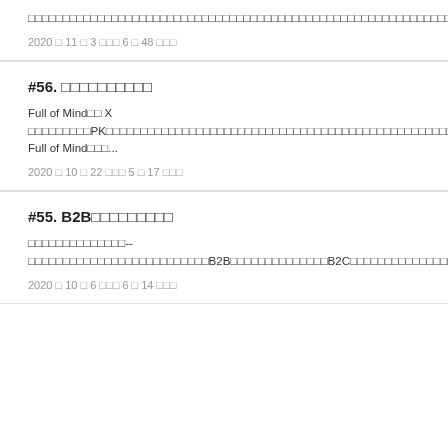□□□□□□□□□□□□□□□□□□□□□□□□□□□□□□□□□□□□□□□□□□□□□□□□□□□□□□□□□□□□□□□□□□□□□□□□□□□□□□□□□□□□□□□□□□□□□□□□□□□□□□□□□□□□□□□□□□□□□□□□□□□□□□□□□□□□□□□□□□□□□□□□□□□□□□□□□□□□□□□□□□□□□□□□□□□□□□□□□□...
2020 □ 11 □ 3 □□□ 6 □ 48 □□□
#56. □□□□□□□□□□
Full of Mind□□ X □□□□□□□□□PK□□□□□□□□□□□□□□□□□□□□□□□□□□□□□□□□□□□□□□□□□□□□□□□□□□□□□□□□□□□□□□□□□□□□□□□□□□□□□□□□□□□□□□□□□□□□□□□□□□□□□□□□□□! Full of Mind□□□...
2020 □ 10 □ 22 □□□ 5 □ 17 □□□
#55. B2B□□□□□□□□□
□□□□□□□□□□□□□□--□□□□□□□□□□□□□□□□□□□□□□□□□□B2B□□□□□□□□□□□□□□B2C□□□□□□□□□□□□□□□□□□□□□□□□□□□□□□□□□□□□□□□□□□□□□□□□□□□□□□□□□□□□□□□□□□□B2B□□□□□□□□□□□□□□□□□□□□□□□□□□□□...
2020 □ 10 □ 6 □□□ 6 □ 14 □□□